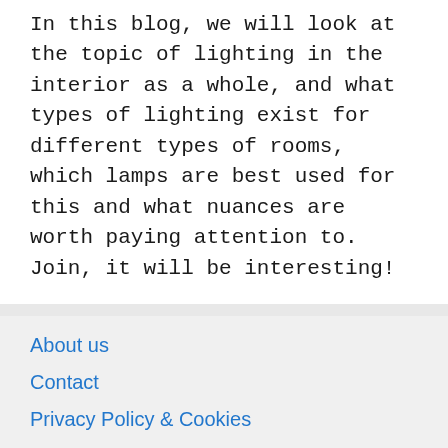In this blog, we will look at the topic of lighting in the interior as a whole, and what types of lighting exist for different types of rooms, which lamps are best used for this and what nuances are worth paying attention to. Join, it will be interesting!
About us
Contact
Privacy Policy & Cookies
ATTENTION TO RIGHT HOLDERS! All materials are posted on the site strictly for informational and educational purposes! If you believe that the posting of any material